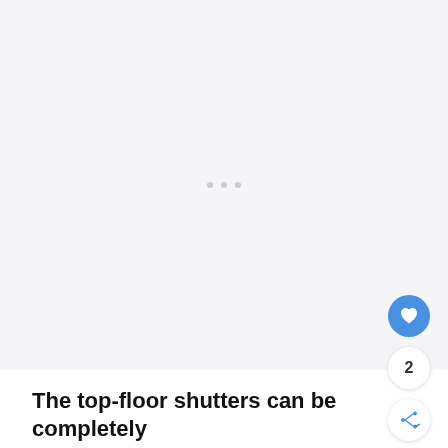[Figure (photo): Large light gray image placeholder area with three small gray dots in the center indicating a loading or empty image state. A blue circular heart/favorite button and share button are overlaid on the bottom-right of the image area.]
The top-floor shutters can be completely